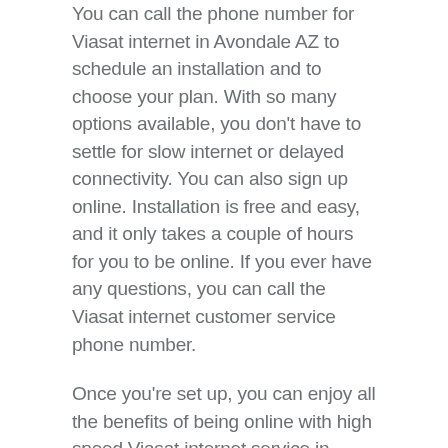You can call the phone number for Viasat internet in Avondale AZ to schedule an installation and to choose your plan. With so many options available, you don't have to settle for slow internet or delayed connectivity. You can also sign up online. Installation is free and easy, and it only takes a couple of hours for you to be online. If you ever have any questions, you can call the Viasat internet customer service phone number.
Once you're set up, you can enjoy all the benefits of being online with high speed Viasat internet service in Avondale AZ. Get your setup scheduled today and see how nice it is to have quality satellite internet at an affordable price.
Explore Your Options with Viasat Satellite Internet in Arizona